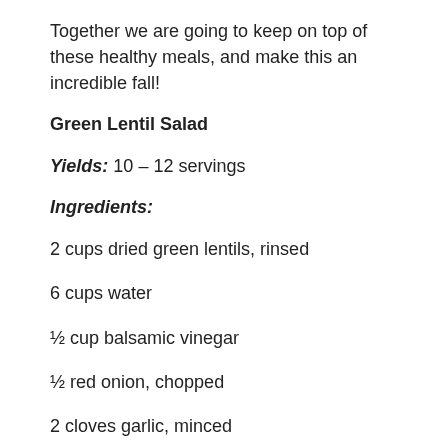Together we are going to keep on top of these healthy meals, and make this an incredible fall!
Green Lentil Salad
Yields: 10 – 12 servings
Ingredients:
2 cups dried green lentils, rinsed
6 cups water
½ cup balsamic vinegar
½ red onion, chopped
2 cloves garlic, minced